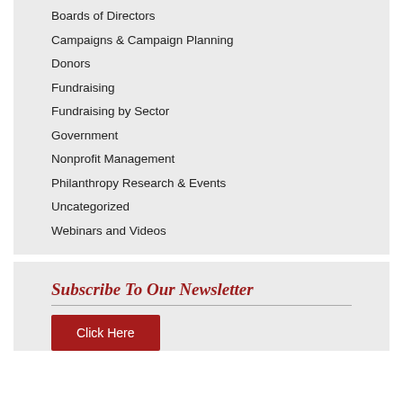Boards of Directors
Campaigns & Campaign Planning
Donors
Fundraising
Fundraising by Sector
Government
Nonprofit Management
Philanthropy Research & Events
Uncategorized
Webinars and Videos
Subscribe To Our Newsletter
Click Here